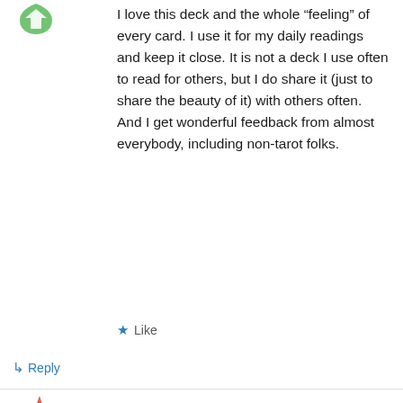[Figure (logo): Green decorative avatar icon in top left]
I love this deck and the whole “feeling” of every card. I use it for my daily readings and keep it close. It is not a deck I use often to read for others, but I do share it (just to share the beauty of it) with others often. And I get wonderful feedback from almost everybody, including non-tarot folks.
★ Like
↳ Reply
[Figure (logo): Red/orange decorative avatar icon for Crystal Koneko]
Crystal Koneko on April 27, 2017 at 7:20 am
Tarot Illuminati is my favorite deck, by far. It’s also the easiest deck for me to read with, it just really speaks to me. It’s a very straightforward